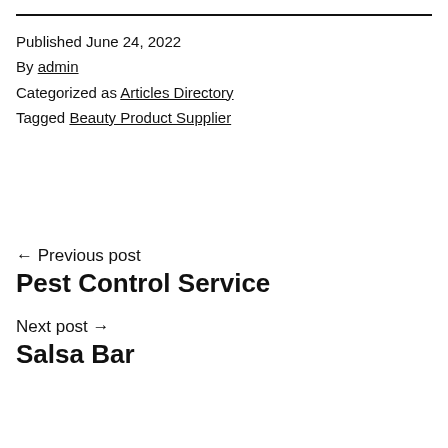Published June 24, 2022
By admin
Categorized as Articles Directory
Tagged Beauty Product Supplier
← Previous post
Pest Control Service
Next post →
Salsa Bar